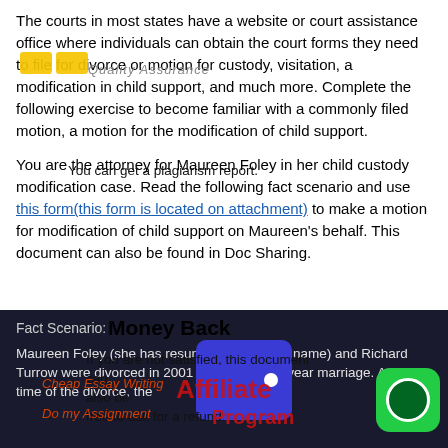The courts in most states have a website or court assistance office where individuals can obtain the court forms they need to file for divorce or motion for custody, visitation, a modification in child support, and much more. Complete the following exercise to become familiar with a commonly filed motion, a motion for the modification of child support.
You are the attorney for Maureen Foley in her child custody modification case. Read the following fact scenario and use this form(this form is located on attachment) to make a motion for modification of child support on Maureen's behalf. This document can also be found in Doc Sharing.
Fact Scenario:
Maureen Foley (she has resumed her maiden name) and Richard Turrow were divorced in 2001 following a ten year marriage. At the time of the divorce, the